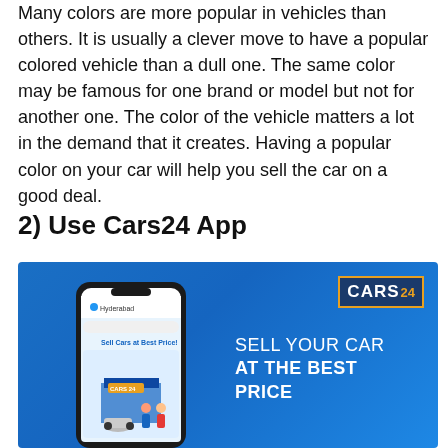Many colors are more popular in vehicles than others. It is usually a clever move to have a popular colored vehicle than a dull one. The same color may be famous for one brand or model but not for another one. The color of the vehicle matters a lot in the demand that it creates. Having a popular color on your car will help you sell the car on a good deal.
2) Use Cars24 App
[Figure (photo): Cars24 app advertisement banner with blue background showing a smartphone displaying the Cars24 app with 'Sell Cars at Best Price!' and a dealership illustration. Text on the right reads 'SELL YOUR CAR AT THE BEST PRICE'. Cars24 logo in top right corner.]